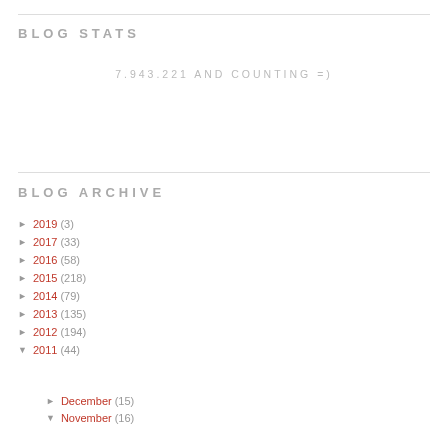BLOG STATS
7,943,221 AND COUNTING =)
BLOG ARCHIVE
► 2019 (3)
► 2017 (33)
► 2016 (58)
► 2015 (218)
► 2014 (79)
► 2013 (135)
► 2012 (194)
▼ 2011 (44)
► December (15)
▼ November (16)